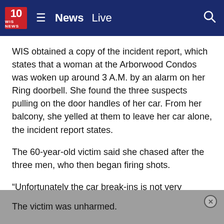10 WIS NEWS  ≡  News  Live  🔍
WIS obtained a copy of the incident report, which states that a woman at the Arborwood Condos was woken up around 3 A.M. by an alarm on her Ring doorbell. She found the three suspects pulling on the door handles of her car. From her balcony, she yelled at them to leave her car alone, the incident report states.
The 60-year-old victim said she chased after the three men, who then began firing shots.
“Unfortunately the car break-ins is not very uncommon, but the shooting towards a citizen, towards a victim of a crime is,” Maldonado said
The victim was unharmed.